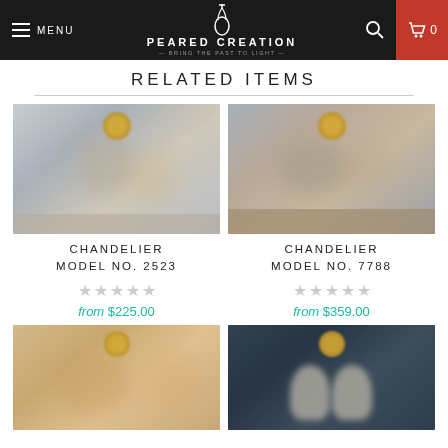MENU | PEARED CREATION — BRING THE PAST TO LIGHT — | 0
RELATED ITEMS
[Figure (photo): Chandelier product image 1, blurred gray background]
CHANDELIER
MODEL NO. 2523
from $225.00
[Figure (photo): Chandelier product image 2, blurred gray/brown background]
CHANDELIER
MODEL NO. 7788
from $359.00
[Figure (photo): Chandelier product image 3, blurred warm tone background]
[Figure (photo): Chandelier product image 4, blurred dark blue background]